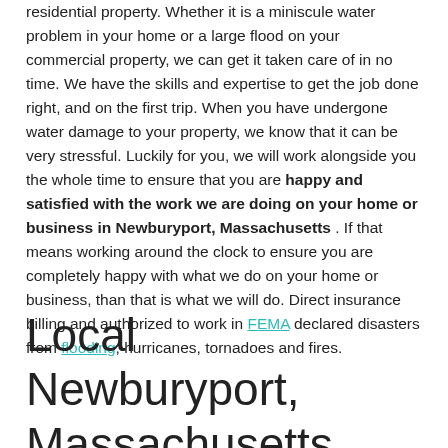residential property. Whether it is a miniscule water problem in your home or a large flood on your commercial property, we can get it taken care of in no time. We have the skills and expertise to get the job done right, and on the first trip. When you have undergone water damage to your property, we know that it can be very stressful. Luckily for you, we will work alongside you the whole time to ensure that you are happy and satisfied with the work we are doing on your home or business in Newburyport, Massachusetts . If that means working around the clock to ensure you are completely happy with what we do on your home or business, than that is what we will do. Direct insurance billing and authorized to work in FEMA declared disasters from flooding, hurricanes, tornadoes and fires.
Local Newburyport, Massachusetts restoration and cleanup for basement flooding,